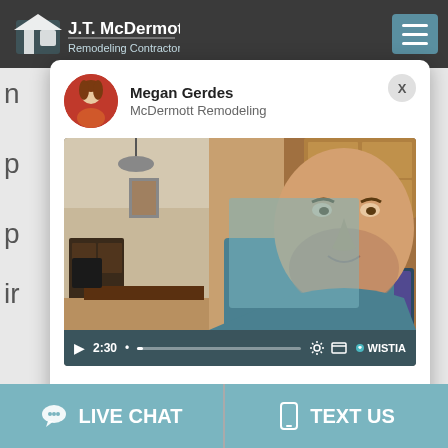[Figure (screenshot): J.T. McDermott Remodeling Contractors website screenshot showing a chat popup with Megan Gerdes from McDermott Remodeling, a video of Josh discussing the virtual consultation process (2:30 duration, hosted on Wistia), and bottom action bar with Live Chat and Text Us buttons.]
Megan Gerdes
McDermott Remodeling
A personal message from Josh about our virtual consultation process.
LIVE CHAT
TEXT US